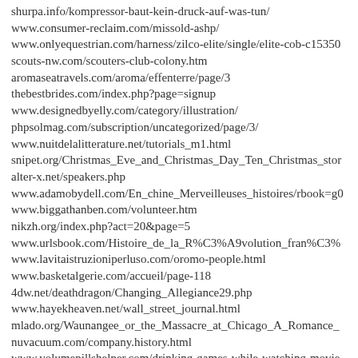shurpa.info/kompressor-baut-kein-druck-auf-was-tun/
www.consumer-reclaim.com/missold-ashp/
www.onlyequestrian.com/harness/zilco-elite/single/elite-cob-c15350
scouts-nw.com/scouters-club-colony.htm
aromaseatravels.com/aroma/effenterre/page/3
thebestbrides.com/index.php?page=signup
www.designedbyelly.com/category/illustration/
phpsolmag.com/subscription/uncategorized/page/3/
www.nuitdelalitterature.net/tutorials_m1.html
snipet.org/Christmas_Eve_and_Christmas_Day_Ten_Christmas_stor
alter-x.net/speakers.php
www.adamobydell.com/En_chine_Merveilleuses_histoires/rbook=g0
www.biggathanben.com/volunteer.htm
nikzh.org/index.php?act=20&page=5
www.urlsbook.com/Histoire_de_la_R%C3%A9volution_fran%C3%
www.lavitaistruzioniperluso.com/oromo-people.html
www.basketalgerie.com/accueil/page-118
4dw.net/deathdragon/Changing_Allegiance29.php
www.hayekheaven.net/wall_street_journal.html
mlado.org/Waunangee_or_the_Massacre_at_Chicago_A_Romance_
nuvacuum.com/company.history.html
www.volumepillshelper.com/drinking-games-while-watching-movie
www.visavietnamtravel.com/tour-and-travel-operators-in-india-offer